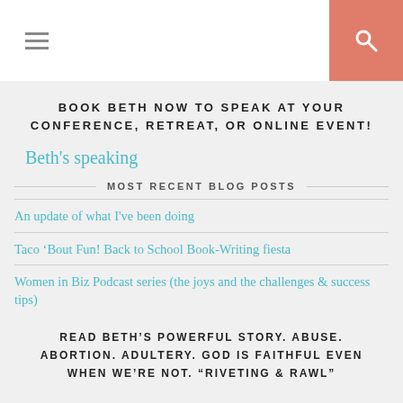Navigation header with hamburger menu and search icon
BOOK BETH NOW TO SPEAK AT YOUR CONFERENCE, RETREAT, OR ONLINE EVENT!
Beth's speaking
MOST RECENT BLOG POSTS
An update of what I've been doing
Taco ‘Bout Fun! Back to School Book-Writing fiesta
Women in Biz Podcast series (the joys and the challenges & success tips)
READ BETH’S POWERFUL STORY. ABUSE. ABORTION. ADULTERY. GOD IS FAITHFUL EVEN WHEN WE’RE NOT. “RIVETING & RAWL”